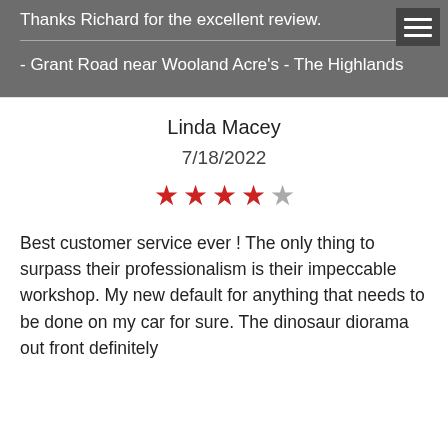Thanks Richard for the excellent review.
- Grant Road near Wooland Acre's - The Highlands
Linda Macey
7/18/2022
[Figure (other): 4 out of 5 stars rating — 4 red filled stars and 1 grey empty star]
Best customer service ever ! The only thing to surpass their professionalism is their impeccable workshop. My new default for anything that needs to be done on my car for sure. The dinosaur diorama out front definitely